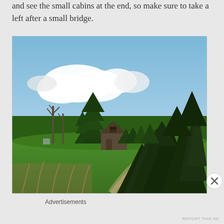and see the small cabins at the end, so make sure to take a left after a small bridge.
[Figure (photo): Outdoor landscape photo showing a rustic wooden barn or cabin structure surrounded by tall evergreen trees (conifers) and some bare dead trees, with a green grassy area in the foreground and a bright blue sky with white fluffy clouds in the background.]
Advertisements